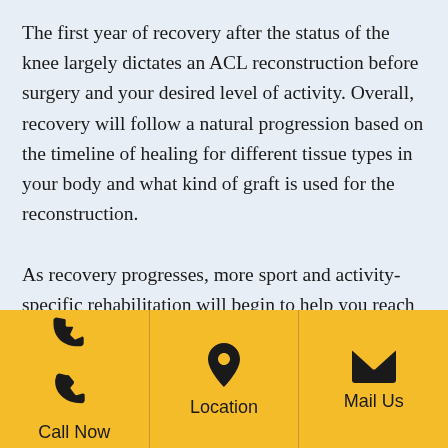The first year of recovery after the status of the knee largely dictates an ACL reconstruction before surgery and your desired level of activity. Overall, recovery will follow a natural progression based on the timeline of healing for different tissue types in your body and what kind of graft is used for the reconstruction.

As recovery progresses, more sport and activity-specific rehabilitation will begin to help you reach
[Figure (infographic): Yellow footer bar with three sections: phone icon with 'Call Now', location pin icon with 'Location', and envelope icon with 'Mail Us']